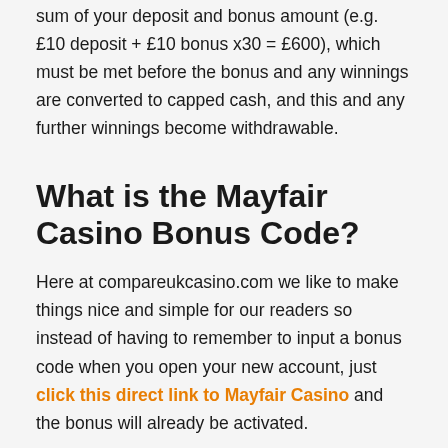sum of your deposit and bonus amount (e.g. £10 deposit + £10 bonus x30 = £600), which must be met before the bonus and any winnings are converted to capped cash, and this and any further winnings become withdrawable.
What is the Mayfair Casino Bonus Code?
Here at compareukcasino.com we like to make things nice and simple for our readers so instead of having to remember to input a bonus code when you open your new account, just click this direct link to Mayfair Casino and the bonus will already be activated.